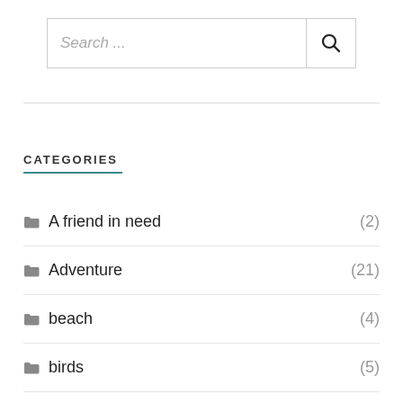[Figure (screenshot): Search input box with placeholder text 'Search ...' and a magnifying glass icon on the right]
CATEGORIES
A friend in need (2)
Adventure (21)
beach (4)
birds (5)
canal (6)